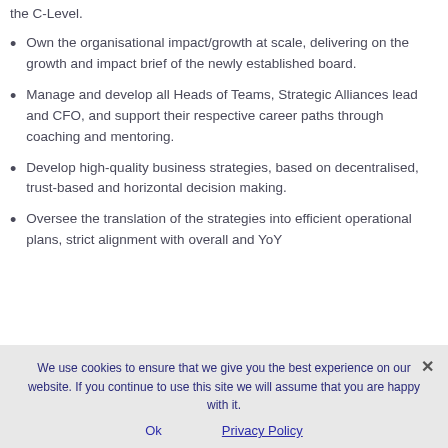the C-Level.
Own the organisational impact/growth at scale, delivering on the growth and impact brief of the newly established board.
Manage and develop all Heads of Teams, Strategic Alliances lead and CFO, and support their respective career paths through coaching and mentoring.
Develop high-quality business strategies, based on decentralised, trust-based and horizontal decision making.
Oversee the translation of the strategies into efficient operational plans, strict alignment with overall and YoY
We use cookies to ensure that we give you the best experience on our website. If you continue to use this site we will assume that you are happy with it.
Ok   Privacy Policy